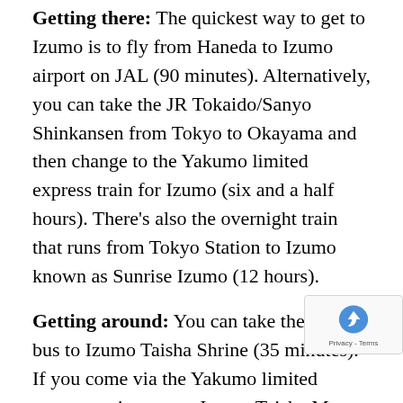Getting there: The quickest way to get to Izumo is to fly from Haneda to Izumo airport on JAL (90 minutes). Alternatively, you can take the JR Tokaido/Sanyo Shinkansen from Tokyo to Okayama and then change to the Yakumo limited express train for Izumo (six and a half hours). There's also the overnight train that runs from Tokyo Station to Izumo known as Sunrise Izumo (12 hours).
Getting around: You can take the airport bus to Izumo Taisha Shrine (35 minutes). If you come via the Yakumo limited express train, stop at Izumo Taisha Mae station. Alternatively, you can get a bus from Izumo-shi station straight to Izumo Taisha Shrine. To get to Hinomisaki, you can get a bus from Izumo Taisha Shrine (20 minutes) or from Izumo-shi station (45 minutes).
More info: For more on Shimane prefecture and Izumo area, click here